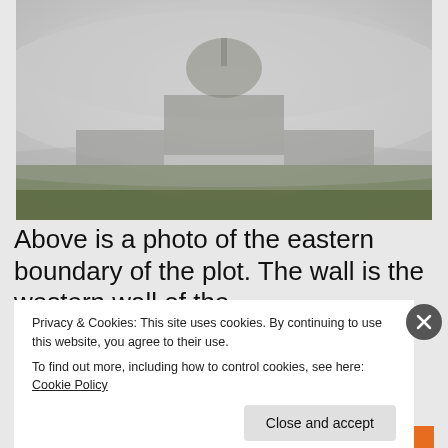[Figure (photo): A foggy photograph of the eastern boundary of a plot, showing a domed building or structure barely visible through thick fog, with a low stone or brick wall in the foreground and green grass at the base.]
Above is a photo of the eastern boundary of the plot. The wall is the western wall of the
Privacy & Cookies: This site uses cookies. By continuing to use this website, you agree to their use.
To find out more, including how to control cookies, see here: Cookie Policy